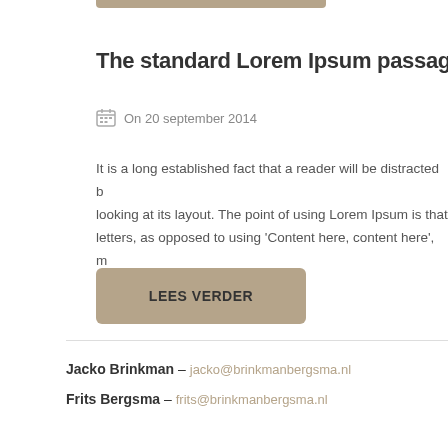The standard Lorem Ipsum passage
On 20 september 2014
It is a long established fact that a reader will be distracted by looking at its layout. The point of using Lorem Ipsum is that letters, as opposed to using 'Content here, content here', m
Lees Verder
Jacko Brinkman – jacko@brinkmanbergsma.nl
Frits Bergsma – frits@brinkmanbergsma.nl